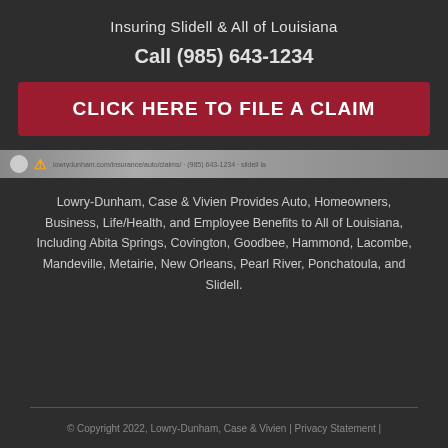Insuring Slidell & All of Louisiana
Call (985) 643-1234
CLICK HERE TO FILE A CLAIM
Lowry-Dunham, Case & Vivien Provides Auto, Homeowners, Business, Life/Health, and Employee Benefits to All of Louisiana, Including Abita Springs, Covington, Goodbee, Hammond, Lacombe, Mandeville, Metairie, New Orleans, Pearl River, Ponchatoula, and Slidell.
© Copyright 2022, Lowry-Dunham, Case & Vivien | Privacy Statement |